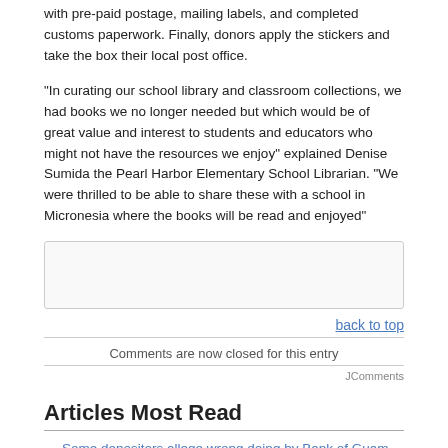with pre-paid postage, mailing labels, and completed customs paperwork. Finally, donors apply the stickers and take the box their local post office.
“In curating our school library and classroom collections, we had books we no longer needed but which would be of great value and interest to students and educators who might not have the resources we enjoy” explained Denise Sumida the Pearl Harbor Elementary School Librarian. “We were thrilled to be able to share these with a school in Micronesia where the books will be read and enjoyed”
[Figure (other): Empty comment input box with light gray background and border]
back to top
Comments are now closed for this entry
JComments
Articles Most Read
Some depositors allege wrong doing by Bank of Guam handling of